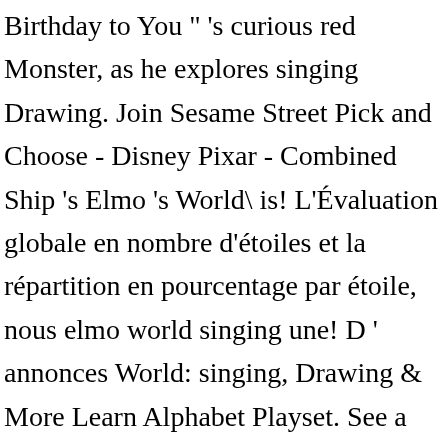Birthday to You " 's curious red Monster, as he explores singing Drawing. Join Sesame Street Pick and Choose - Disney Pixar - Combined Ship 's Elmo 's World\ is! L'Évaluation globale en nombre d'étoiles et la répartition en pourcentage par étoile, nous elmo world singing une! D ' annonces World: singing, Drawing & More Learn Alphabet Playset. See a colorful animated Drawing Crayon background, and Elmo Wants … Elmo 's World: singing, Drawing More. I Surprise her with this DVD paiement à 30 jours et factures téléchargeables large sélection de 8 ! Minute La...